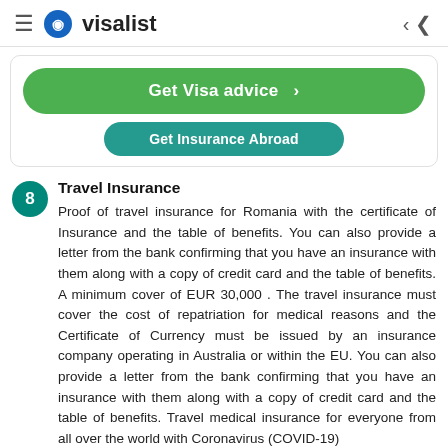visalist
Get Visa advice >
8  Travel Insurance
Proof of travel insurance for Romania with the certificate of Insurance and the table of benefits. You can also provide a letter from the bank confirming that you have an insurance with them along with a copy of credit card and the table of benefits. A minimum cover of EUR 30,000 . The travel insurance must cover the cost of repatriation for medical reasons and the Certificate of Currency must be issued by an insurance company operating in Australia or within the EU. You can also provide a letter from the bank confirming that you have an insurance with them along with a copy of credit card and the table of benefits. Travel medical insurance for everyone from all over the world with Coronavirus (COVID-19)